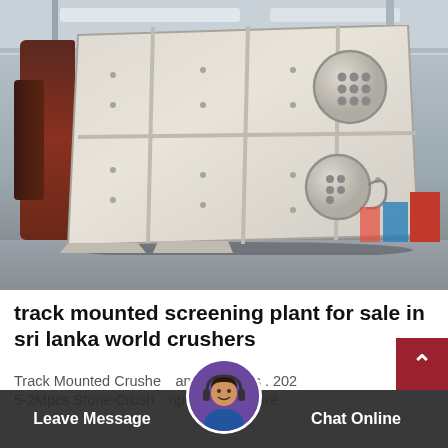[Figure (photo): Large industrial track-mounted screening plant (cream/off-white colored vibratory screen unit) leaning at an angle inside a warehouse/factory building. The machine has multiple panels with bolts, two circular motor/vibrator units visible on the front face. Dark red machinery visible on the left side, warehouse ceiling with strip lighting above, concrete floor below.]
track mounted screening plant for sale in sri lanka world crushers
Track Mounted Crusher amp Screens . 202 5-2Mpcs Stone Crush amp Screener Hire
Leave Message   Chat Online